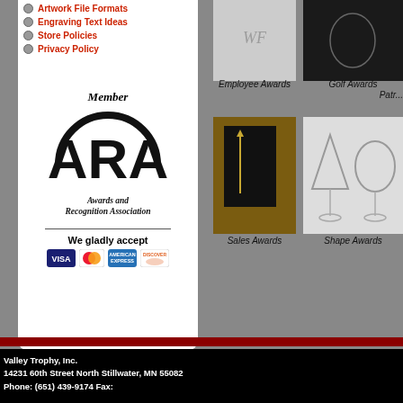Artwork File Formats
Engraving Text Ideas
Store Policies
Privacy Policy
[Figure (logo): ARA Member - Awards and Recognition Association logo with bold circular ARA lettermark and italic serif text]
We gladly accept
[Figure (illustration): Credit card logos: VISA, MasterCard, American Express, Discover]
[Figure (photo): Employee Awards product photo - crystal/glass award]
[Figure (photo): Golf Awards product photo - dark background award]
Employee Awards
Golf Awards
Patr...
[Figure (photo): Sales Awards plaque - gold figure on dark wood plaque]
[Figure (photo): Shape Awards - glass geometric shaped awards]
Sales Awards
Shape Awards
Sp...
Valley Trophy, Inc.
14231 60th Street North Stillwater, MN 55082
Phone: (651) 439-9174 Fax: